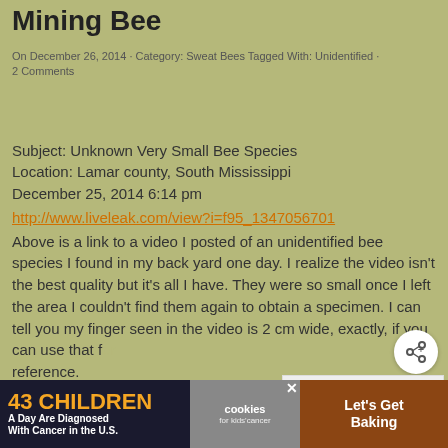Mining Bee
On December 26, 2014 · Category: Sweat Bees Tagged With: Unidentified · 2 Comments
Subject: Unknown Very Small Bee Species
Location: Lamar county, South Mississippi
December 25, 2014 6:14 pm
http://www.liveleak.com/view?i=f95_1347056701
Above is a link to a video I posted of an unidentified bee species I found in my back yard one day. I realize the video isn't the best quality but it's all I have. They were so small once I left the area I couldn't find them again to obtain a specimen. I can tell you my finger seen in the video is 2 cm wide, exactly, if you can use that for reference.
If you pause it near the end you can get a decent profile of it and it's characteristics. They lived in a small hole which
[Figure (other): Share button (circular button with share icon)]
[Figure (other): What's Next box showing Spicebrush Swallowtail...]
[Figure (other): Advertisement banner: 43 Children A Day Are Diagnosed With Cancer In the U.S. / cookies for kids cancer / Let's Get Baking]